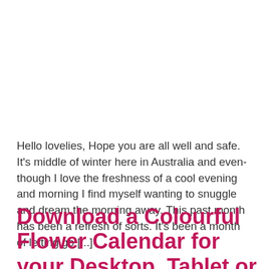Hello lovelies, Hope you are all well and safe. It's middle of winter here in Australia and even-though I love the freshness of a cool evening and morning I find myself wanting to snuggle and dream the morning away. This past month has been a refresh of sorts. It's been a month of letting go [...]
Download a Colourful Flower Calendar for your Desktop, Tablet or Mobile Phone for